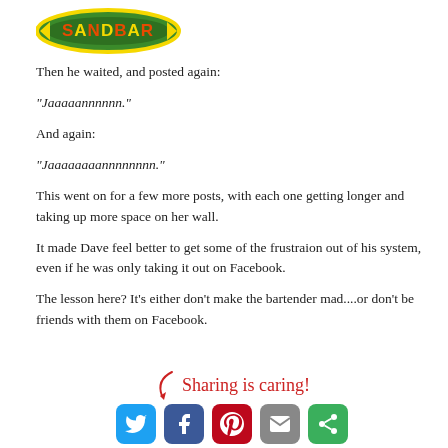[Figure (logo): Sandbar logo — green oval with yellow border and red/orange 'SANDBAR' text]
Then he waited, and posted again:
"Jaaaaannnnnn."
And again:
"Jaaaaaaaannnnnnnn."
This went on for a few more posts, with each one getting longer and taking up more space on her wall.
It made Dave feel better to get some of the frustraion out of his system, even if he was only taking it out on Facebook.
The lesson here? It's either don't make the bartender mad....or don't be friends with them on Facebook.
[Figure (infographic): Sharing is caring! text in red cursive with social sharing buttons for Twitter, Facebook, Pinterest, Email, and another platform]